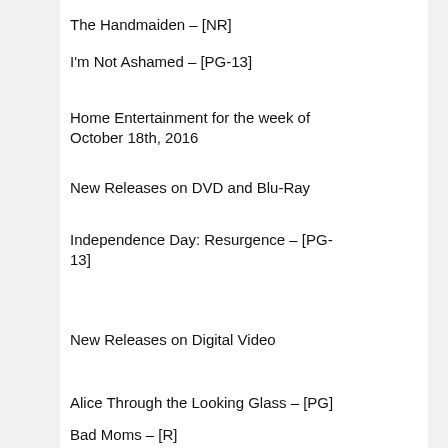The Handmaiden – [NR]
I'm Not Ashamed – [PG-13]
Home Entertainment for the week of October 18th, 2016
New Releases on DVD and Blu-Ray
Independence Day: Resurgence – [PG-13]
New Releases on Digital Video
Alice Through the Looking Glass – [PG]
Bad Moms – [R]